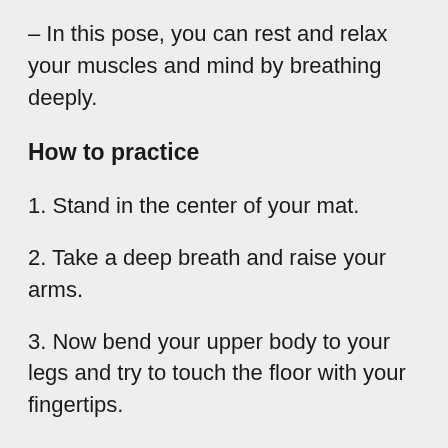– In this pose, you can rest and relax your muscles and mind by breathing deeply.
How to practice
1. Stand in the center of your mat.
2. Take a deep breath and raise your arms.
3. Now bend your upper body to your legs and try to touch the floor with your fingertips.
4. The goal is to push your chest towards your legs, not your head.
5. The spine should be straight, but if you find